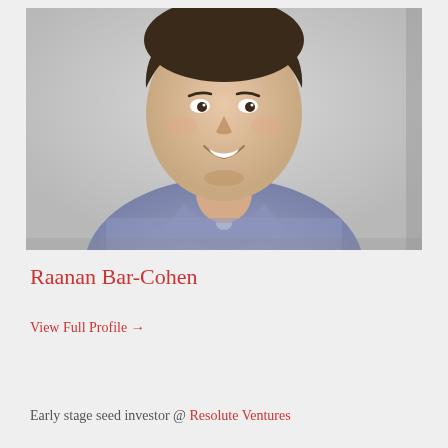[Figure (photo): Professional headshot of Raanan Bar-Cohen, a man smiling, wearing a blue checkered shirt, photographed against a light gray background.]
Raanan Bar-Cohen
View Full Profile →
Early stage seed investor @ Resolute Ventures